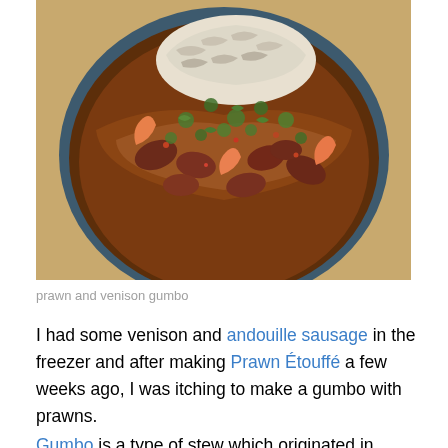[Figure (photo): A bowl of prawn and venison gumbo with rice, garnished with fresh herbs, viewed from above on a wooden surface.]
prawn and venison gumbo
I had some venison and andouille sausage in the freezer and after making Prawn Étouffé a few weeks ago, I was itching to make a gumbo with prawns.
Gumbo is a type of stew which originated in Louisiana around the early part of the eighteenth century and comes from a mixture of cultures. The name itself comes from the African word for okra – ngombo or quingombo (used to thicken the stew), but a filé gumbo contains ground